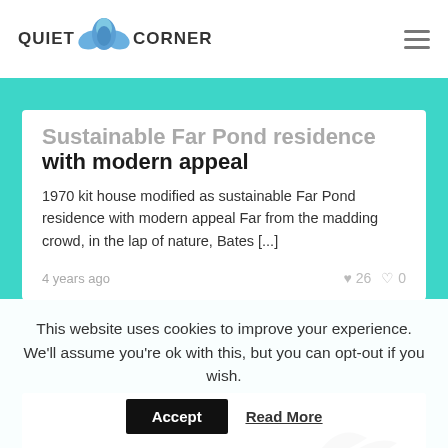QUIET CORNER
Sustainable Far Pond residence with modern appeal
1970 kit house modified as sustainable Far Pond residence with modern appeal Far from the madding crowd, in the lap of nature, Bates [...]
4 years ago   ♥ 26   💬 0
[Figure (photo): Partially visible article image with dark curved shapes on a light grey/sky background]
This website uses cookies to improve your experience. We'll assume you're ok with this, but you can opt-out if you wish.
Accept   Read More